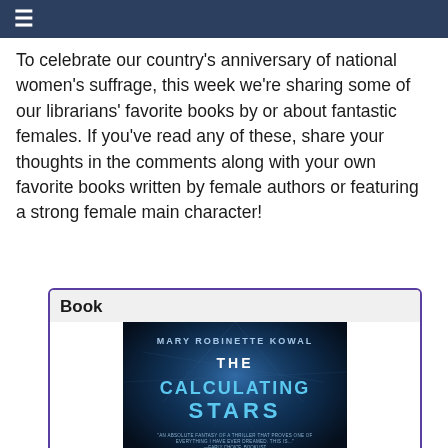≡
To celebrate our country's anniversary of national women's suffrage, this week we're sharing some of our librarians' favorite books by or about fantastic females. If you've read any of these, share your thoughts in the comments along with your own favorite books written by female authors or featuring a strong female main character!
[Figure (illustration): Book card with label 'Book' and cover of 'The Calculating Stars' by Mary Robinette Kowal — dark blue sci-fi cover with silhouettes of women and space imagery]